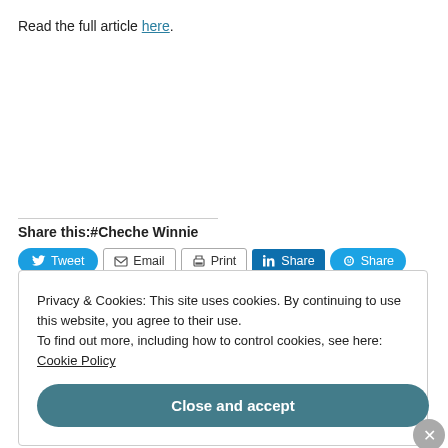Read the full article here.
Share this:#Cheche Winnie
[Figure (screenshot): Share buttons row: Tweet (blue rounded), Email (outlined), Print (outlined), Share on LinkedIn (blue), Share on Skype (blue rounded)]
Privacy & Cookies: This site uses cookies. By continuing to use this website, you agree to their use.
To find out more, including how to control cookies, see here: Cookie Policy
Close and accept